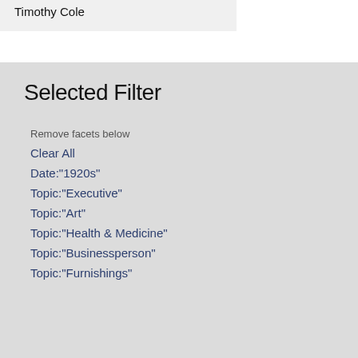Timothy Cole
Selected Filter
Remove facets below
Clear All
Date:"1920s"
Topic:"Executive"
Topic:"Art"
Topic:"Health & Medicine"
Topic:"Businessperson"
Topic:"Furnishings"